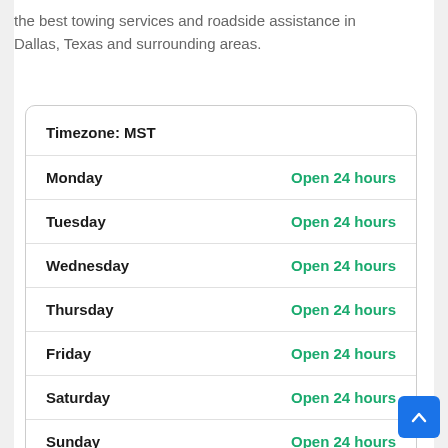the best towing services and roadside assistance in Dallas, Texas and surrounding areas.
| Day | Hours |
| --- | --- |
| Monday | Open 24 hours |
| Tuesday | Open 24 hours |
| Wednesday | Open 24 hours |
| Thursday | Open 24 hours |
| Friday | Open 24 hours |
| Saturday | Open 24 hours |
| Sunday | Open 24 hours |